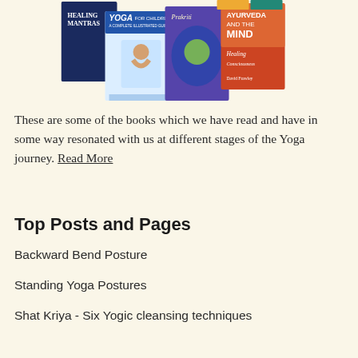[Figure (photo): A collage of yoga and Ayurveda book covers including 'Healing Mantras', 'Yoga for Children', 'Prakriti', 'Ayurveda and the Mind', and 'Healing Consciousness' by David Frawley.]
These are some of the books which we have read and have in some way resonated with us at different stages of the Yoga journey. Read More
Top Posts and Pages
Backward Bend Posture
Standing Yoga Postures
Shat Kriya - Six Yogic cleansing techniques